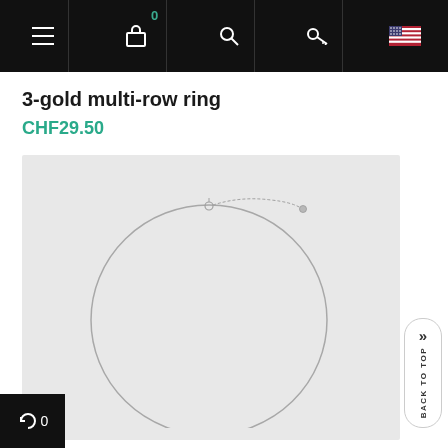Navigation bar with menu, cart (0), search, key, and flag icons
3-gold multi-row ring
CHF29.50
[Figure (photo): A delicate silver-tone chain necklace displayed in a flat lay on a light gray background. The chain forms a large circular loop with a clasp at the top and a small pendant or charm at the bottom center.]
BACK TO TOP
0